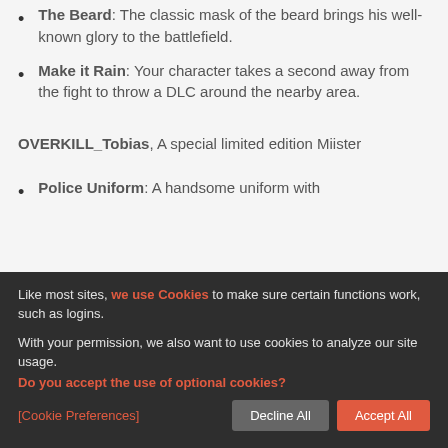The Beard: The classic mask of the beard brings his well-known glory to the battlefield.
Make it Rain: Your character takes a second away from the fight to throw a DLC around the nearby area.
OVERKILL_Tobias, A special limited edition Miister
Police Uniform: A handsome uniform with
Like most sites, we use Cookies to make sure certain functions work, such as logins.

With your permission, we also want to use cookies to analyze our site usage.
Do you accept the use of optional cookies?

[Cookie Preferences]   Decline All   Accept All